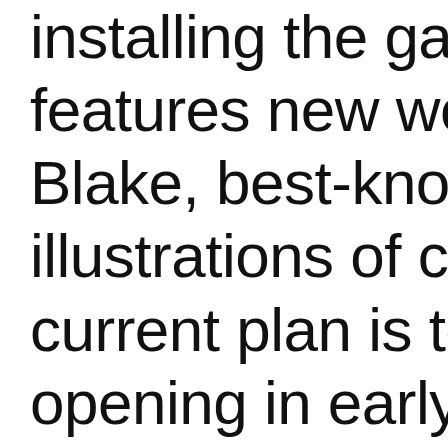installing the gallery features new work b Blake, best-known f illustrations of childr current plan is to ha opening in early Ma playing a starring ro

The show's title is "